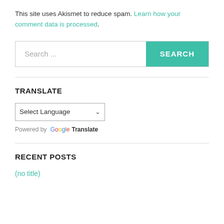This site uses Akismet to reduce spam. Learn how your comment data is processed.
[Figure (screenshot): Search bar with text input field showing placeholder 'Search ...' and a teal 'SEARCH' button on the right]
TRANSLATE
[Figure (screenshot): Select Language dropdown and 'Powered by Google Translate' text]
RECENT POSTS
(no title)